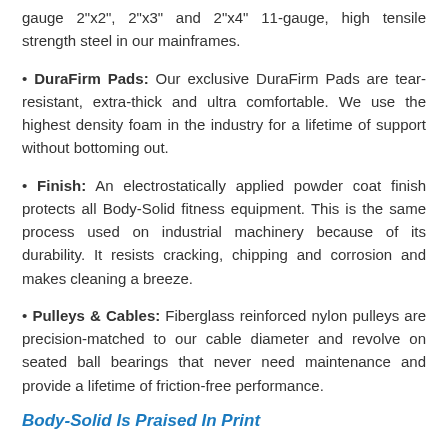gauge 2"x2", 2"x3" and 2"x4" 11-gauge, high tensile strength steel in our mainframes.
• DuraFirm Pads: Our exclusive DuraFirm Pads are tear-resistant, extra-thick and ultra comfortable. We use the highest density foam in the industry for a lifetime of support without bottoming out.
• Finish: An electrostatically applied powder coat finish protects all Body-Solid fitness equipment. This is the same process used on industrial machinery because of its durability. It resists cracking, chipping and corrosion and makes cleaning a breeze.
• Pulleys & Cables: Fiberglass reinforced nylon pulleys are precision-matched to our cable diameter and revolve on seated ball bearings that never need maintenance and provide a lifetime of friction-free performance.
Body-Solid Is Praised In Print